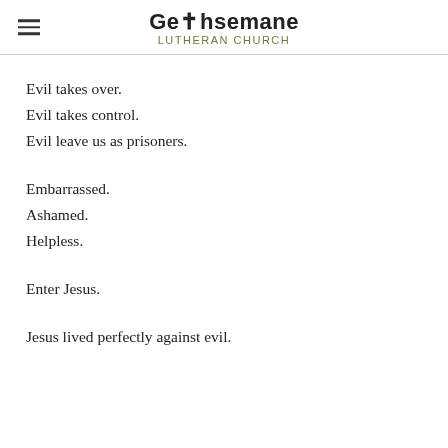Gethsemane Lutheran Church
Evil takes over.
Evil takes control.
Evil leave us as prisoners.
Embarrassed.
Ashamed.
Helpless.
Enter Jesus.
Jesus lived perfectly against evil.